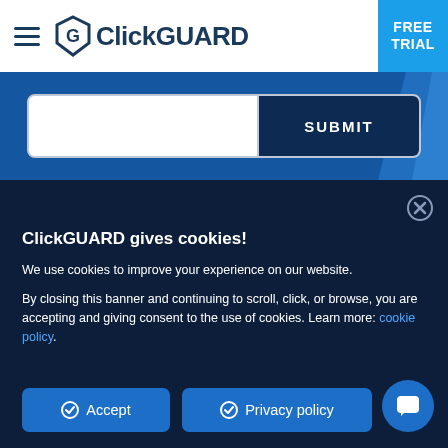ClickGUARD — FREE TRIAL
[Figure (screenshot): Search/submit input bar on blue background]
ClickGUARD gives cookies!
We use cookies to improve your experience on our website.
By closing this banner and continuing to scroll, click, or browse, you are accepting and giving consent to the use of cookies. Learn more: cookie policy.
Accept   Privacy policy